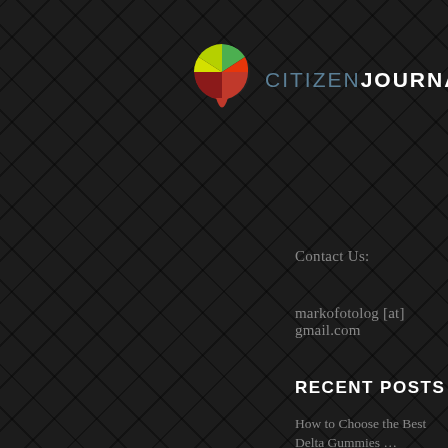[Figure (logo): Citizen Journal logo: colorful circular icon (red, green, yellow, blue segments) with text 'CITIZENJOURNAL' where JOURNAL is bold white and CITIZEN is grey/blue]
Contact Us:
markofotolog [at] gmail.com
RECENT POSTS
How to Choose the Best Delta Gummies …
What Are the Benefits of Cloud Faxing …
7 Common Mistakes All Men Make When …
5 Steps For Planning An Epic …